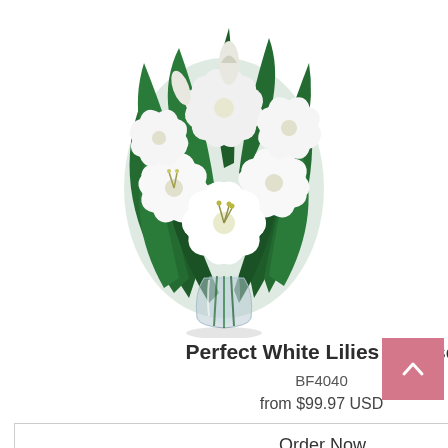[Figure (photo): White lilies bouquet arranged in a clear glass vase with green leaves, displayed on a white background.]
Perfect White Lilies in Vase
BF4040
from $99.97 USD
Order Now